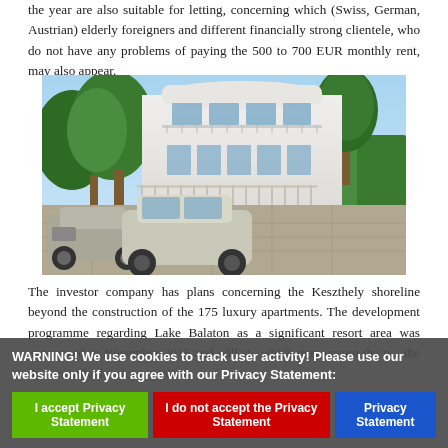the year are also suitable for letting, concerning which (Swiss, German, Austrian) elderly foreigners and different financially strong clientele, who do not have any problems of paying the 500 to 700 EUR monthly rent, may also appear.
[Figure (photo): Exterior rendering of a modern white luxury apartment building with rounded balconies, large trees, a gated entrance, and paved driveway with two cars parked in front.]
The investor company has plans concerning the Keszthely shoreline beyond the construction of the 175 luxury apartments. The development programme regarding Lake Balaton as a significant resort area was announced in November 2015 and will st...which may ensure the p... the dynamically developing West-
WARNING! We use cookies to track user activity! Please use our website only if you agree with our Privacy Statement:
I accept Privacy Statement
I do not accept the Privacy Statement
Privacy Statement